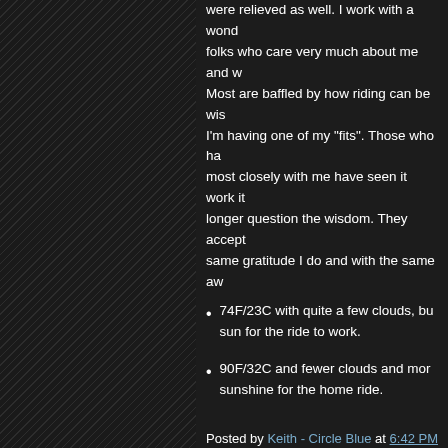were relieved as well. I work with a wonderful group of folks who care very much about me and what I do. Most are baffled by how riding can be wise when I'm having one of my "fits". Those who have worked most closely with me have seen it work its magic and no longer question the wisdom. They accept it with the same gratitude I do and with the same aw
74F/23C with quite a few clouds, but enough sun for the ride to work.
90F/32C and fewer clouds and more sunshine for the home ride.
Posted by Keith - Circle Blue at 6:42 PM
4 comments:
Thursday, August 22, 2013
A Stretch
Yes, I rode to work today.